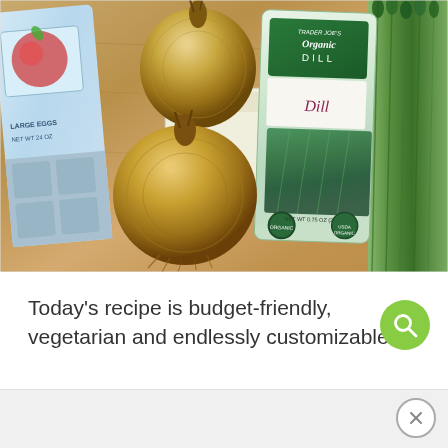[Figure (photo): A photo of grocery ingredients on a wooden cutting board: an egg carton on the left, two yellow/brown onions in the center, a Trader Joe's Organic Dill package in the middle-right, and fresh asparagus on the far right.]
Today's recipe is budget-friendly, vegetarian and endlessly customizable.